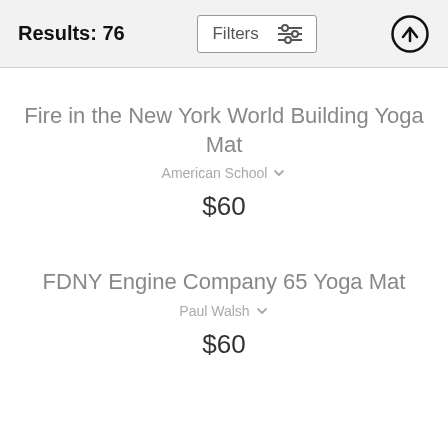Results: 76
Fire in the New York World Building Yoga Mat
American School
$60
FDNY Engine Company 65 Yoga Mat
Paul Walsh
$60